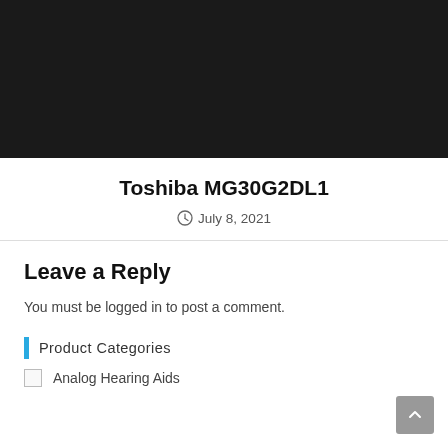[Figure (photo): Black rectangular image area at top of page]
Toshiba MG30G2DL1
July 8, 2021
Leave a Reply
You must be logged in to post a comment.
Product Categories
Analog Hearing Aids